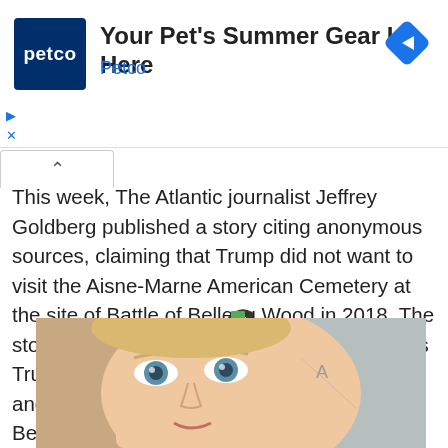[Figure (screenshot): Petco advertisement banner: Petco blue logo on left, text 'Your Pet's Summer Gear Is Here / Petco', blue navigation arrow diamond icon on right, ad controls (play and X) on left side]
This week, The Atlantic journalist Jeffrey Goldberg published a story citing anonymous sources, claiming that Trump did not want to visit the Aisne-Marne American Cemetery at the site of Battle of Belleau Wood in 2018. The story, citing those anonymous sources, claims Trump called the cemetery “filled with losers” and referred to fallen soldiers who died at Belleau Wood as “suckers.”
[Figure (logo): Outbrain logo: circular C shape in dark gray with green square accent in top right]
[Figure (photo): Close-up photo of a young blonde woman with blue eyes looking slightly upward, hand near face, background appears to show a wall with writing]